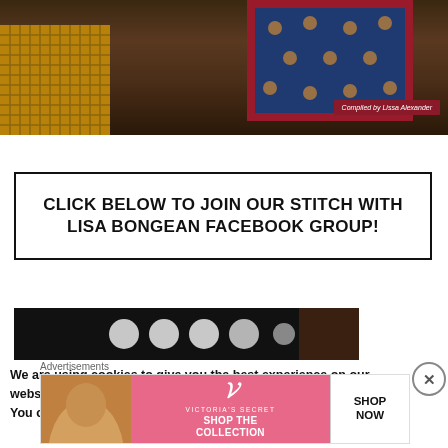[Figure (photo): Photo of a quilt draped over a chair with a wicker basket, showing a blue floral quilt with red border. Badge reads 'Compiled by Lissa Alexander']
CLICK BELOW TO JOIN OUR STITCH WITH LISA BONGEAN FACEBOOK GROUP!
[Figure (photo): Dark banner image with circular decorative elements]
We are using cookies to give you the best experience on our website.
You can find out more about which cookies we are using or
Advertisements
[Figure (photo): Victoria's Secret advertisement showing model, VS logo, 'SHOP THE COLLECTION' and 'SHOP NOW' button]